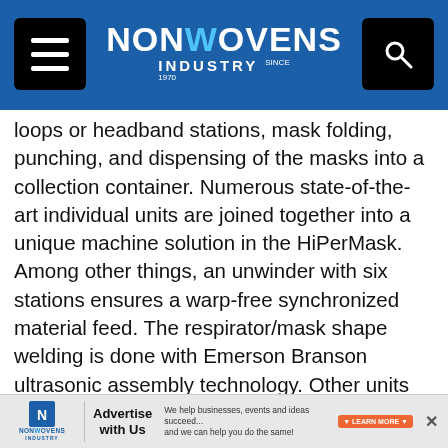NONWOVENS INDUSTRY
loops or headband stations, mask folding, punching, and dispensing of the masks into a collection container. Numerous state-of-the-art individual units are joined together into a unique machine solution in the HiPerMask. Among other things, an unwinder with six stations ensures a warp-free synchronized material feed. The respirator/mask shape welding is done with Emerson Branson ultrasonic assembly technology. Other units include a nose clip unit with precise feeding of the nose clips, a printing unit for affixing the labeling on both sides, including individual numbering and the company logo, and a mask folding unit that is equipped with automatic centering by means of a vision sensor and linear unit. As an option, the mask strip welding can be carried out as an ear loop station or as a headband station with band length adjustment. Another outstanding feature is the shaping...
[Figure (other): Advertisement banner for Nonwovens Industry: Advertise with Us - We help businesses, events and ideas succeed... and we can help you do the same! LEARN MORE button.]